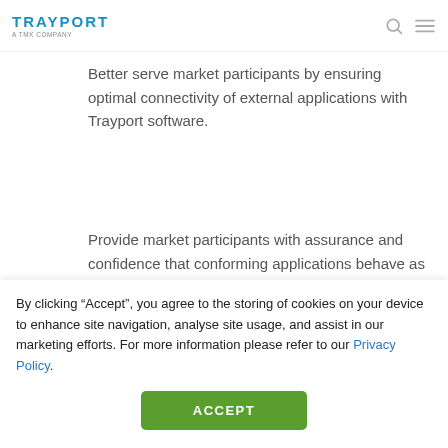TRAYPORT — A TMX COMPANY
Better serve market participants by ensuring optimal connectivity of external applications with Trayport software.
Provide market participants with assurance and confidence that conforming applications behave as...
By clicking “Accept”, you agree to the storing of cookies on your device to enhance site navigation, analyse site usage, and assist in our marketing efforts. For more information please refer to our Privacy Policy.